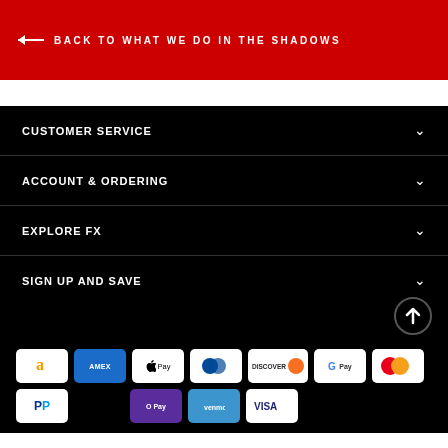← BACK TO WHAT WE DO IN THE SHADOWS
CUSTOMER SERVICE
ACCOUNT & ORDERING
EXPLORE FX
SIGN UP AND SAVE
[Figure (logo): Payment method icons: Amazon, Amex, Apple Pay, Diners Club, Discover, Google Pay, Mastercard, PayPal, O Pay, Venmo, Visa]